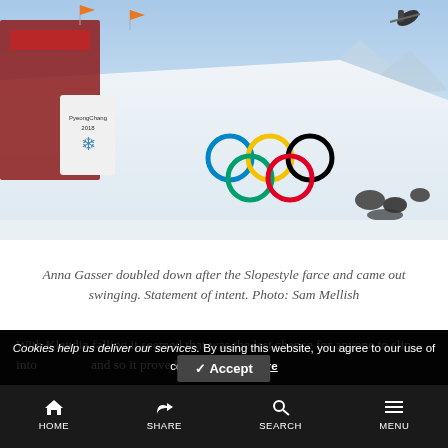[Figure (photo): Olympic snowboard halfpipe venue with large snow structure displaying the Olympic rings logo. A snowboarder is airborne in the top right corner. Photographers and spectators visible on the right side. PyeongChang 2018 Winter Olympics branding visible on the left side.]
Anna Gasser doubled down after the Slopestyle farce and came out swinging. Statement of intent. Photo: Sam Mellish
With Klaudia falling it seemed that was the last chance for anyone to slip into and so it proved to
Cookies help us deliver our services. By using this website, you agree to our use of cookies. Learn More
HOME  SHARE  SEARCH  MENU